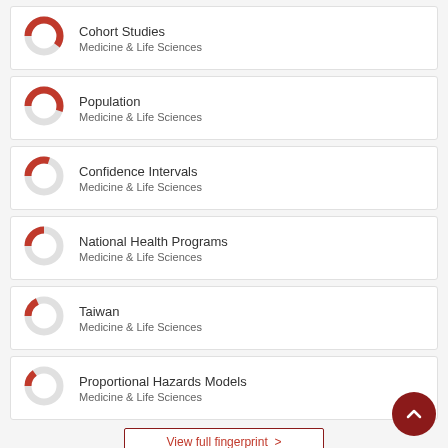[Figure (donut-chart): Donut chart showing partial fill ~60%, Medicine & Life Sciences]
Cohort Studies
Medicine & Life Sciences
[Figure (donut-chart): Donut chart showing partial fill ~55%, Medicine & Life Sciences]
Population
Medicine & Life Sciences
[Figure (donut-chart): Donut chart showing partial fill ~30%, Medicine & Life Sciences]
Confidence Intervals
Medicine & Life Sciences
[Figure (donut-chart): Donut chart showing partial fill ~25%, Medicine & Life Sciences]
National Health Programs
Medicine & Life Sciences
[Figure (donut-chart): Donut chart showing partial fill ~20%, Medicine & Life Sciences]
Taiwan
Medicine & Life Sciences
[Figure (donut-chart): Donut chart showing partial fill ~18%, Medicine & Life Sciences]
Proportional Hazards Models
Medicine & Life Sciences
View full fingerprint >